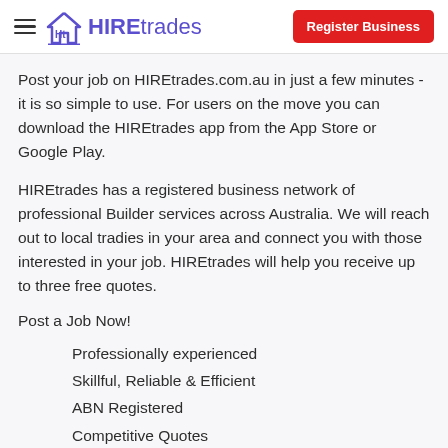HIREtrades | Register Business
Post your job on HIREtrades.com.au in just a few minutes - it is so simple to use. For users on the move you can download the HIREtrades app from the App Store or Google Play.
HIREtrades has a registered business network of professional Builder services across Australia. We will reach out to local tradies in your area and connect you with those interested in your job. HIREtrades will help you receive up to three free quotes.
Post a Job Now!
Professionally experienced
Skillful, Reliable & Efficient
ABN Registered
Competitive Quotes